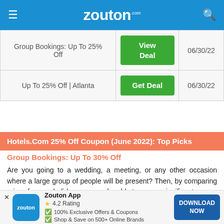zouton.com
| Deal | Action | Expiry |
| --- | --- | --- |
| Group Bookings: Up To 25% Off | View Deal | 06/30/22 |
| Up To 25% Off | Atlanta | Get Deal | 06/30/22 |
Hotels.Com 25% Off Coupon (June 2022): Top Picks
Group Bookings: Up To 30% Off
Are you going to a wedding, a meeting, or any other occasion where a large group of people will be present? Then, by comparing prices for your holiday, you may be able to save a significant
[Figure (screenshot): Zouton app download banner with logo, 4.2 star rating, features, and Download Now button]